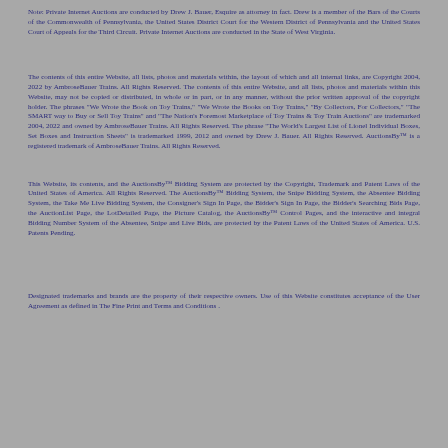Note: Private Internet Auctions are conducted by Drew J. Bauer, Esquire as attorney in fact. Drew is a member of the Bars of the Courts of the Commonwealth of Pennsylvania, the United States District Court for the Western District of Pennsylvania and the United States Court of Appeals for the Third Circuit. Private Internet Auctions are conducted in the State of West Virginia.
The contents of this entire Website, all lists, photos and materials within, the layout of which and all internal links, are Copyright 2004, 2022 by AmbroseBauer Trains. All Rights Reserved. The contents of this entire Website, and all lists, photos and materials within this Website, may not be copied or distributed, in whole or in part, or in any manner, without the prior written approval of the copyright holder. The phrases "We Wrote the Book on Toy Trains," "We Wrote the Books on Toy Trains," "By Collectors, For Collectors," "The SMART way to Buy or Sell Toy Trains" and "The Nation's Foremost Marketplace of Toy Trains & Toy Train Auctions" are trademarked 2004, 2022 and owned by AmbroseBauer Trains. All Rights Reserved. The phrase "The World's Largest List of Lionel Individual Boxes, Set Boxes and Instruction Sheets" is trademarked 1999, 2012 and owned by Drew J. Bauer. All Rights Reserved. AuctionsBy™ is a registered trademark of AmbroseBauer Trains. All Rights Reserved.
This Website, its contents, and the AuctionsBy™ Bidding System are protected by the Copyright, Trademark and Patent Laws of the United States of America. All Rights Reserved. The AuctionsBy™ Bidding System, the Snipe Bidding System, the Absentee Bidding System, the Take Me Live Bidding System, the Consigner's Sign In Page, the Bidder's Sign In Page, the Bidder's Searching Bids Page, the AuctionList Page, the LotDetailed Page, the Picture Catalog, the AuctionsBy™ Control Pages, and the interactive and integral Bidding Number System of the Absentee, Snipe and Live Bids, are protected by the Patent Laws of the United States of America. U.S. Patents Pending.
Designated trademarks and brands are the property of their respective owners. Use of this Website constitutes acceptance of the User Agreement as defined in The Fine Print and Terms and Conditions .